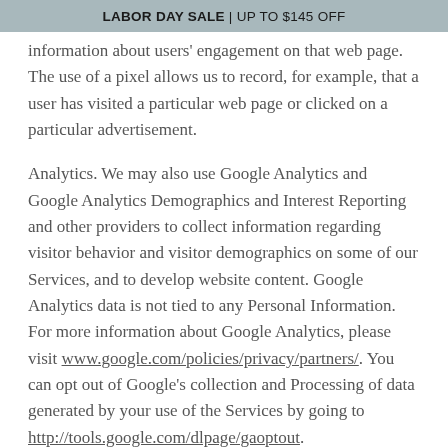LABOR DAY SALE | UP TO $145 OFF
information about users' engagement on that web page. The use of a pixel allows us to record, for example, that a user has visited a particular web page or clicked on a particular advertisement.
Analytics. We may also use Google Analytics and Google Analytics Demographics and Interest Reporting and other providers to collect information regarding visitor behavior and visitor demographics on some of our Services, and to develop website content. Google Analytics data is not tied to any Personal Information. For more information about Google Analytics, please visit www.google.com/policies/privacy/partners/. You can opt out of Google's collection and Processing of data generated by your use of the Services by going to http://tools.google.com/dlpage/gaoptout.
Our use of such Technologies falls into the following